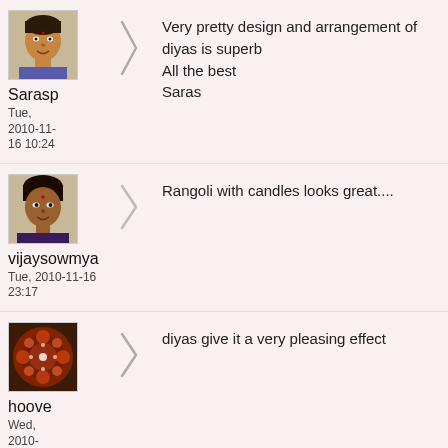[Figure (photo): Avatar photo of user Sarasp - woman's face]
Sarasp
Tue, 2010-11-16 10:24
Very pretty design and arrangement of diyas is superb
All the best
Saras
[Figure (photo): Avatar photo of user vijaysowmya - woman's face]
vijaysowmya
Tue, 2010-11-16 23:17
Rangoli with candles looks great....
[Figure (photo): Avatar image of user hoove - decorative circular rangoli pattern]
hoove
Wed, 2010-11-17 00:49
diyas give it a very pleasing effect